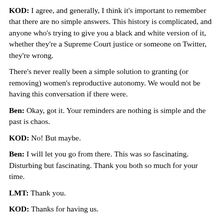KOD: I agree, and generally, I think it's important to remember that there are no simple answers. This history is complicated, and anyone who's trying to give you a black and white version of it, whether they're a Supreme Court justice or someone on Twitter, they're wrong.
There's never really been a simple solution to granting (or removing) women's reproductive autonomy. We would not be having this conversation if there were.
Ben: Okay, got it. Your reminders are nothing is simple and the past is chaos.
KOD: No! But maybe.
Ben: I will let you go from there. This was so fascinating. Disturbing but fascinating. Thank you both so much for your time.
LMT: Thank you.
KOD: Thanks for having us.
]]> Tue, 23 Aug 2022 17:46:46 +0000
https://historynewsnetwork.org/blog/154616
https://historynewsnetwork.org/blog/154616 0